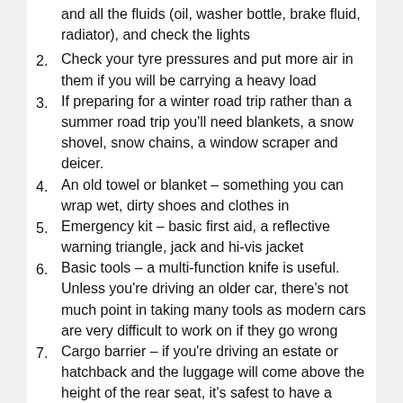and all the fluids (oil, washer bottle, brake fluid, radiator), and check the lights
2. Check your tyre pressures and put more air in them if you will be carrying a heavy load
3. If preparing for a winter road trip rather than a summer road trip you'll need blankets, a snow shovel, snow chains, a window scraper and deicer.
4. An old towel or blanket – something you can wrap wet, dirty shoes and clothes in
5. Emergency kit – basic first aid, a reflective warning triangle, jack and hi-vis jacket
6. Basic tools – a multi-function knife is useful. Unless you're driving an older car, there's not much point in taking many tools as modern cars are very difficult to work on if they go wrong
7. Cargo barrier – if you're driving an estate or hatchback and the luggage will come above the height of the rear seat, it's safest to have a cargo barrier so that if you brake heavily your rear seat